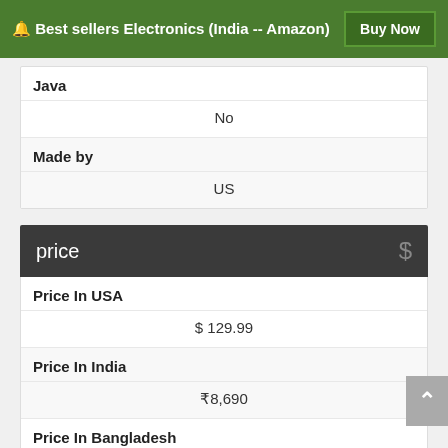🔔 Best sellers Electronics (India -- Amazon)   Buy Now
| Java |  |
|  | No |
| Made by |  |
|  | US |
price  $
| Price In USA |  |
|  | $ 129.99 |
| Price In India |  |
|  | ₹8,690 |
| Price In Bangladesh |  |